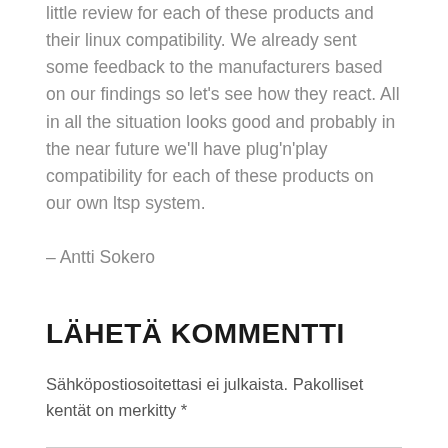little review for each of these products and their linux compatibility. We already sent some feedback to the manufacturers based on our findings so let's see how they react. All in all the situation looks good and probably in the near future we'll have plug'n'play compatibility for each of these products on our own ltsp system.
– Antti Sokero
LÄHETÄ KOMMENTTI
Sähköpostiosoitettasi ei julkaista. Pakolliset kentät on merkitty *